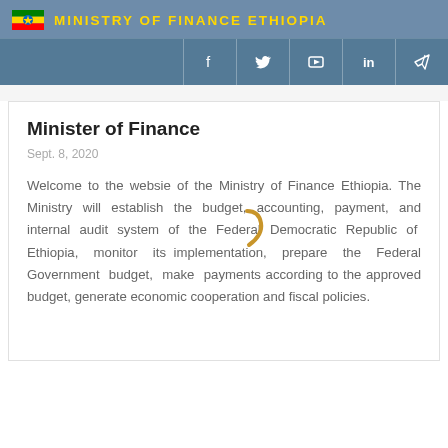MINISTRY OF FINANCE ETHIOPIA
Minister of Finance
Sept. 8, 2020
Welcome to the website of the Ministry of Finance Ethiopia. The Ministry will establish the budget, accounting, payment, and internal audit system of the Federal Democratic Republic of Ethiopia, monitor its implementation, prepare the Federal Government budget, make payments according to the approved budget, generate economic cooperation and fiscal policies.